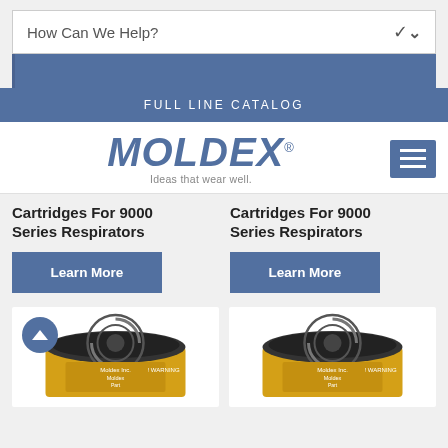How Can We Help?
FULL LINE CATALOG
[Figure (logo): Moldex logo with tagline 'Ideas that wear well.']
Cartridges For 9000 Series Respirators
Cartridges For 9000 Series Respirators
Learn More
Learn More
[Figure (photo): Moldex respirator cartridge product image, cylindrical with swirl design]
[Figure (photo): Moldex respirator cartridge product image, cylindrical with swirl design]